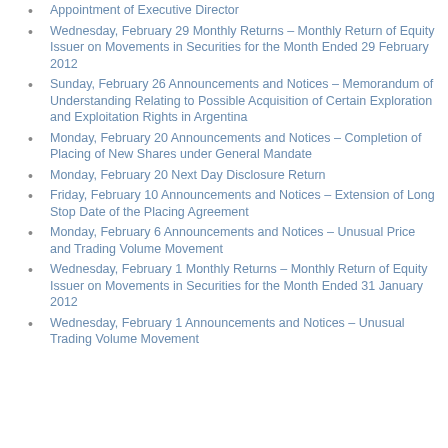Appointment of Executive Director
Wednesday, February 29 Monthly Returns – Monthly Return of Equity Issuer on Movements in Securities for the Month Ended 29 February 2012
Sunday, February 26 Announcements and Notices – Memorandum of Understanding Relating to Possible Acquisition of Certain Exploration and Exploitation Rights in Argentina
Monday, February 20 Announcements and Notices – Completion of Placing of New Shares under General Mandate
Monday, February 20 Next Day Disclosure Return
Friday, February 10 Announcements and Notices – Extension of Long Stop Date of the Placing Agreement
Monday, February 6 Announcements and Notices – Unusual Price and Trading Volume Movement
Wednesday, February 1 Monthly Returns – Monthly Return of Equity Issuer on Movements in Securities for the Month Ended 31 January 2012
Wednesday, February 1 Announcements and Notices – Unusual Trading Volume Movement